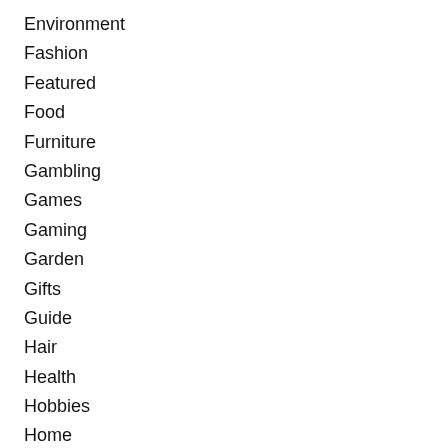Environment
Fashion
Featured
Food
Furniture
Gambling
Games
Gaming
Garden
Gifts
Guide
Hair
Health
Hobbies
Home